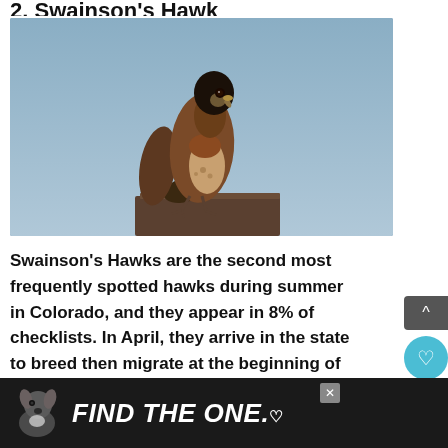2. Swainson's Hawk
[Figure (photo): A Swainson's Hawk perched on a wooden post or rooftop edge, photographed against a blue-gray sky. The bird has a dark brown head and back, reddish-brown chest band, and lighter spotted underparts.]
Swainson's Hawks are the second most frequently spotted hawks during summer in Colorado, and they appear in 8% of checklists. In April, they arrive in the state to breed then migrate at the beginning of September.
[Figure (photo): Advertisement banner showing a dog (pit bull type) on the left side and bold italic white text reading 'FIND THE ONE.' with a small heart symbol, on a dark background. An X close button is visible in the upper area.]